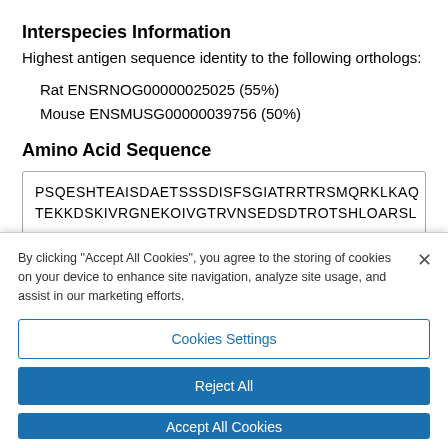Interspecies Information
Highest antigen sequence identity to the following orthologs:
Rat ENSRNOG00000025025 (55%)
Mouse ENSMUSG00000039756 (50%)
Amino Acid Sequence
PSQESHTEAISDAETSSSDISFSGIATRRTRSMQRKLKAQ
TEKKDSKIVRGNEKQIVGTRVNSEDSDTROTSHLOARSL
By clicking “Accept All Cookies”, you agree to the storing of cookies on your device to enhance site navigation, analyze site usage, and assist in our marketing efforts.
Cookies Settings
Reject All
Accept All Cookies